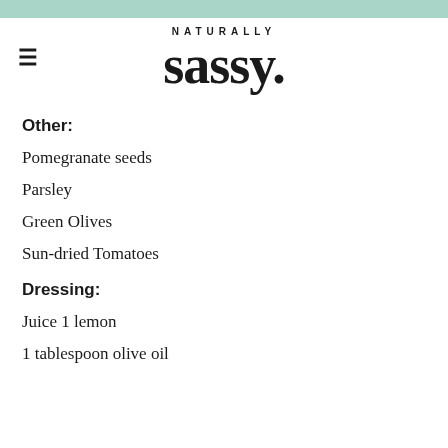NATURALLY sassy.
Other:
Pomegranate seeds
Parsley
Green Olives
Sun-dried Tomatoes
Dressing:
Juice 1 lemon
1 tablespoon olive oil